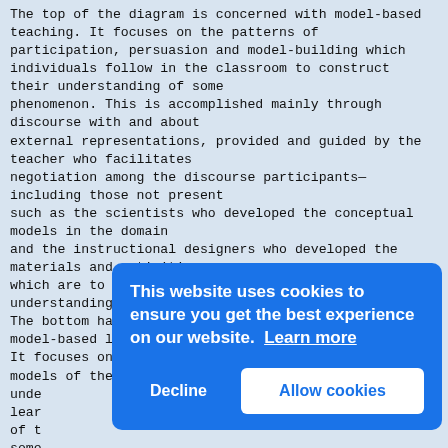The top of the diagram is concerned with model-based teaching. It focuses on the patterns of participation, persuasion and model-building which individuals follow in the classroom to construct their understanding of some phenomenon. This is accomplished mainly through discourse with and about external representations, provided and guided by the teacher who facilitates negotiation among the discourse participants— including those not present such as the scientists who developed the conceptual models in the domain and the instructional designers who developed the materials and activities which are to facilitate of the learners' understanding of the phenomenon. The bottom half of the diagram is concerned with model-based learning. It focuses on individuals' construction of mental models of the phenomena unde lear of t some spon mode even mode unsa reje In the following section I will describe the state- of the art of related research
[Figure (other): Cookie consent overlay banner with blue background. Text reads: 'This website uses cookies to ensure you get the best experience on our website. Learn more' with Decline and Allow cookies buttons.]